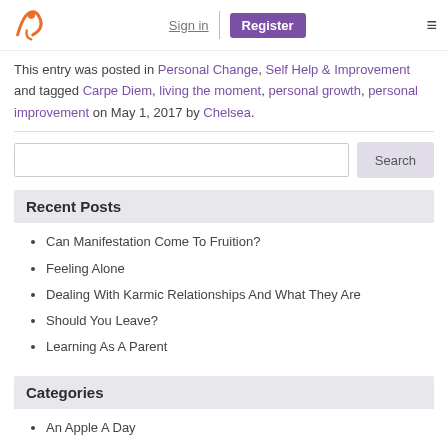Sign in | Register
This entry was posted in Personal Change, Self Help & Improvement and tagged Carpe Diem, living the moment, personal growth, personal improvement on May 1, 2017 by Chelsea.
Recent Posts
Can Manifestation Come To Fruition?
Feeling Alone
Dealing With Karmic Relationships And What They Are
Should You Leave?
Learning As A Parent
Categories
An Apple A Day